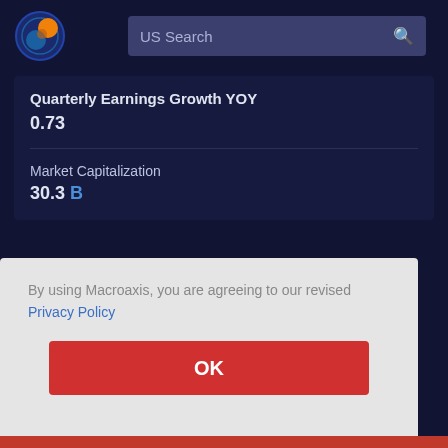US Search
Quarterly Earnings Growth YOY
0.73
Market Capitalization
30.3 B
By using Macroaxis, you are agreeing to our revised Privacy Policy
OK